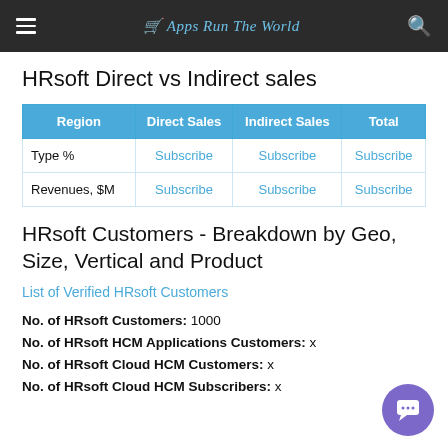Apps Run The World
HRsoft Direct vs Indirect sales
| Region | Direct Sales | Indirect Sales | Total |
| --- | --- | --- | --- |
| Type % | Subscribe | Subscribe | Subscribe |
| Revenues, $M | Subscribe | Subscribe | Subscribe |
HRsoft Customers - Breakdown by Geo, Size, Vertical and Product
List of Verified HRsoft Customers
No. of HRsoft Customers: 1000
No. of HRsoft HCM Applications Customers: x
No. of HRsoft Cloud HCM Customers: x
No. of HRsoft Cloud HCM Subscribers: x